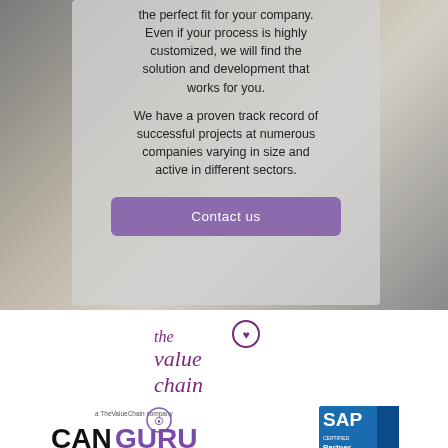the perfect fit for your company. Even if your process is highly customized, we will find the solution and development that works for you.
We have a proven track record of successful projects at numerous companies varying in size and active in different sectors.
Contact us
[Figure (logo): The Value Chain logo with stylized italic text and circular emblem]
[Figure (logo): CanGuru logo (a TheValueChain company) and SAP Partner badge]